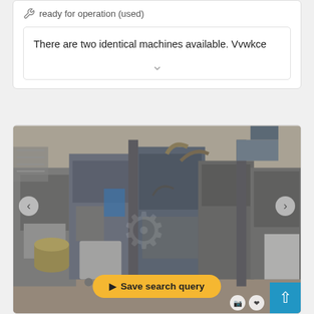🔧 ready for operation (used)
There are two identical machines available. Vvwkce
[Figure (photo): Industrial machinery in a factory setting showing large metal processing machines with pipes, cables, and equipment on a concrete floor. Navigation arrows visible on left and right sides.]
Save search query